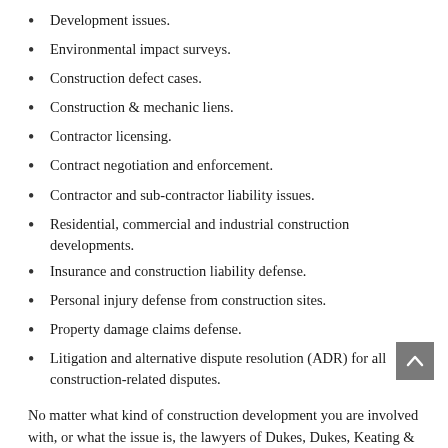Development issues.
Environmental impact surveys.
Construction defect cases.
Construction & mechanic liens.
Contractor licensing.
Contract negotiation and enforcement.
Contractor and sub-contractor liability issues.
Residential, commercial and industrial construction developments.
Insurance and construction liability defense.
Personal injury defense from construction sites.
Property damage claims defense.
Litigation and alternative dispute resolution (ADR) for all construction-related disputes.
No matter what kind of construction development you are involved with, or what the issue is, the lawyers of Dukes, Dukes, Keating & Faneca, P.A. can provide you the counseling